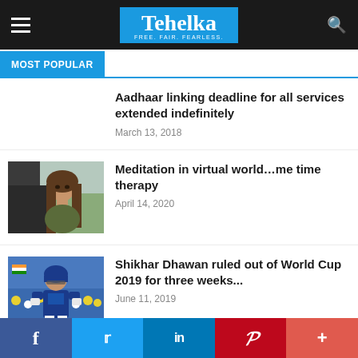Tehelka — FREE. FAIR. FEARLESS.
MOST POPULAR
Aadhaar linking deadline for all services extended indefinitely
March 13, 2018
[Figure (photo): Woman with long hair looking out of a window]
Meditation in virtual world…me time therapy
April 14, 2020
[Figure (photo): Shikhar Dhawan cricket player in blue jersey]
Shikhar Dhawan ruled out of World Cup 2019 for three weeks...
June 11, 2019